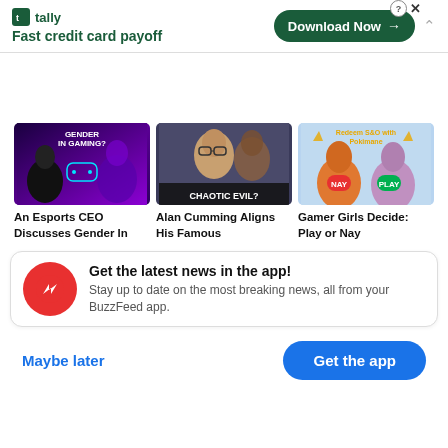[Figure (screenshot): Tally app advertisement banner with logo, tagline 'Fast credit card payoff', and 'Download Now' button]
[Figure (screenshot): Three video thumbnail cards: 'Gender In Gaming?', 'Chaotic Evil?', and 'Redeem S&O with Pokimane']
An Esports CEO Discusses Gender In
Alan Cumming Aligns His Famous
Gamer Girls Decide: Play or Nay
[Figure (screenshot): BuzzFeed app notification banner with red icon, 'Get the latest news in the app!' message, 'Maybe later' and 'Get the app' buttons]